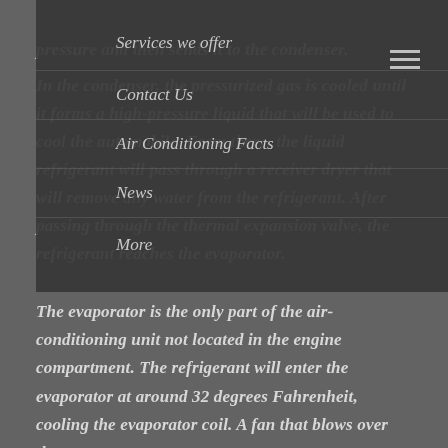pressure and then sends it to the condenser.
In the condenser, the pressurized gas is cooled until it forms a high-pressure liquid that will be used to cool the automobile. From there, the liquid refrigerant will pass through a receiver dryer that will remove any water from the refrigerant. After passing through the thermal expansion valve, the refrigerant reaches the evaporator.
Services we offer +
Contact Us
Air Conditioning Facts
News
More +
The evaporator is the only part of the air-conditioning unit not located in the engine compartment. The refrigerant will enter the evaporator at around 32 degrees Fahrenheit, cooling the evaporator coil. A fan that blows over the